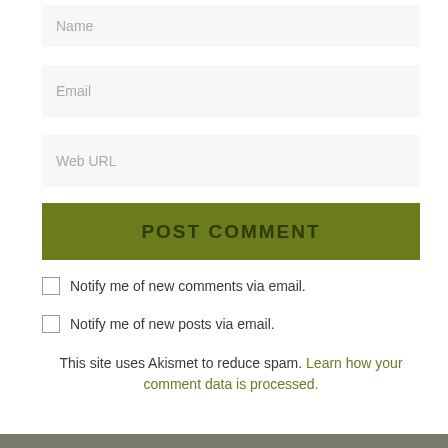Name
Email
Web URL
POST COMMENT
Notify me of new comments via email.
Notify me of new posts via email.
This site uses Akismet to reduce spam. Learn how your comment data is processed.